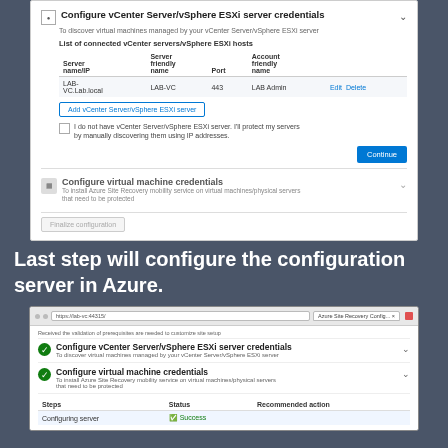[Figure (screenshot): Azure Site Recovery Configuration Manager UI - top screenshot showing Configure vCenter Server/vSphere ESXi server credentials section expanded with a table listing connected servers (LAB-VC.Lab.local, LAB-VC, port 443, LAB Admin) and Add vCenter Server button, checkbox for no vCenter server, Continue button, and Configure virtual machine credentials section collapsed, with Finalize configuration button.]
Last step will configure the configuration server in Azure.
[Figure (screenshot): Azure Site Recovery Configuration Manager browser screenshot showing both sections with green checkmarks: Configure vCenter Server/vSphere ESXi server credentials (completed) and Configure virtual machine credentials (completed), followed by a Steps table showing 'Configuring server' with Status 'Success' and a Recommended action column.]